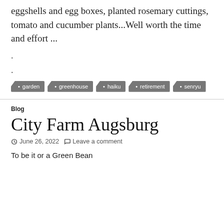eggshells and egg boxes, planted rosemary cuttings, tomato and cucumber plants...Well worth the time and effort ...
.
.
garden
greenhouse
haiku
retirement
senryu
Blog
City Farm Augsburg
June 26, 2022  Leave a comment
To be it or a Green Bean